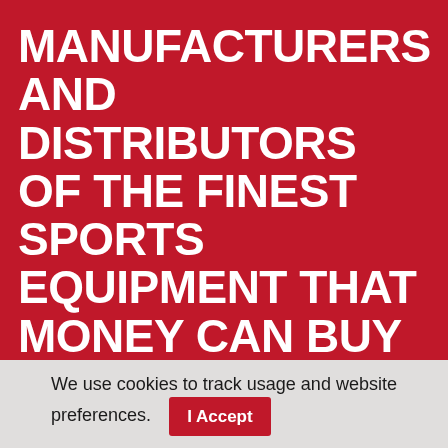MANUFACTURERS AND DISTRIBUTORS OF THE FINEST SPORTS EQUIPMENT THAT MONEY CAN BUY
Welcome to Universal Services. We are the leading manufacturer, supplier, installers and maintenance company in the UK of sports hall equipment, gymnasium equipment, physical education
We use cookies to track usage and website preferences. I Accept